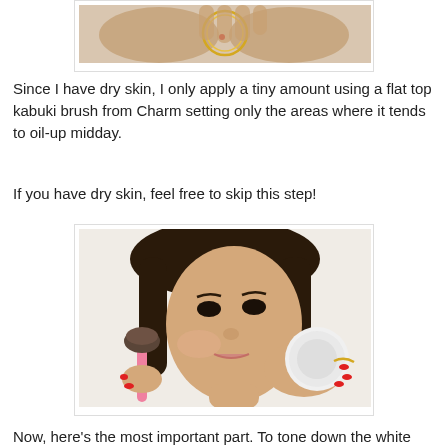[Figure (photo): Close-up of hands holding a circular makeup sieve/strainer accessory with yellow ring and red dot, against white background]
Since I have dry skin, I only apply a tiny amount using a flat top kabuki brush from Charm setting only the areas where it tends to oil-up midday.
If you have dry skin, feel free to skip this step!
[Figure (photo): Young Asian woman applying powder to her cheek with a pink-handled kabuki brush, holding a round white powder compact in her other hand with red painted nails]
Now, here's the most important part. To tone down the white